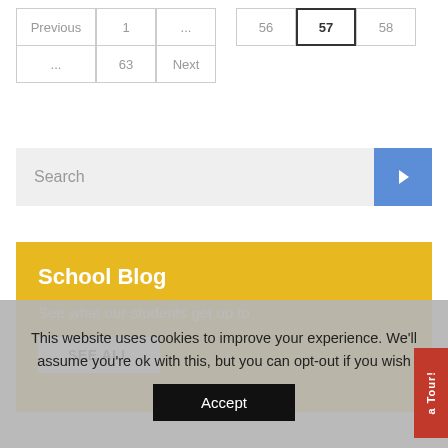| Previous | 1 | ... | 56 | 57 | 58 |
| ... | 63 | Next |
Search
School Blog
See what our students get up to
SEE ALL
This website uses cookies to improve your experience. We'll assume you're ok with this, but you can opt-out if you wish
Accept